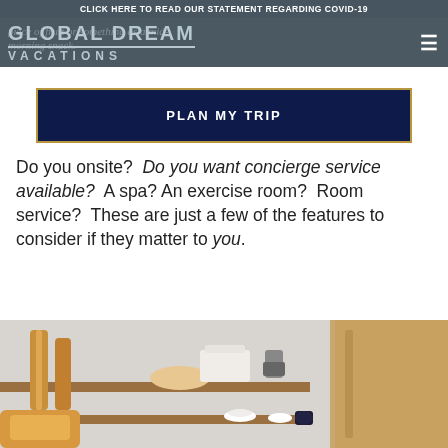CLICK HERE TO READ OUR STATEMENT REGARDING COVID-19
GLOBAL DREAM VACATIONS
breakfast with the stay. Not only does it usually grab a piece of fruit or something as a mid-morning snack.
PLAN MY TRIP
Do you want concierge service available? A spa? An exercise room? Room service? These are just a few of the features to consider if they matter to you.
[Figure (photo): Photo of a bakery shelf with baguettes, pastries, coffee equipment and dishes on wooden shelves with marble background]